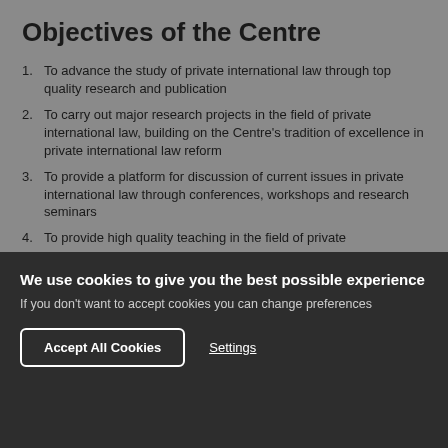Objectives of the Centre
To advance the study of private international law through top quality research and publication
To carry out major research projects in the field of private international law, building on the Centre's tradition of excellence in private international law reform
To provide a platform for discussion of current issues in private international law through conferences, workshops and research seminars
To provide high quality teaching in the field of private...
We use cookies to give you the best possible experience
If you don't want to accept cookies you can change preferences
Accept All Cookies   Settings